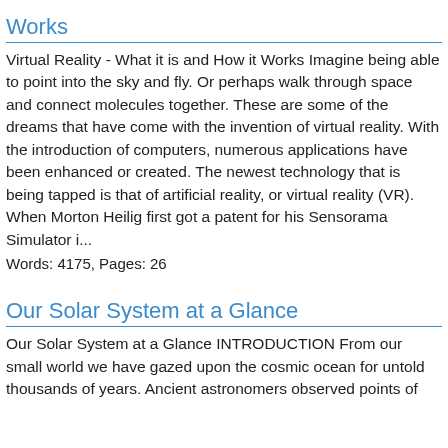Works
Virtual Reality - What it is and How it Works Imagine being able to point into the sky and fly. Or perhaps walk through space and connect molecules together. These are some of the dreams that have come with the invention of virtual reality. With the introduction of computers, numerous applications have been enhanced or created. The newest technology that is being tapped is that of artificial reality, or virtual reality (VR). When Morton Heilig first got a patent for his Sensorama Simulator i...
Words: 4175, Pages: 26
Our Solar System at a Glance
Our Solar System at a Glance INTRODUCTION From our small world we have gazed upon the cosmic ocean for untold thousands of years. Ancient astronomers observed points of